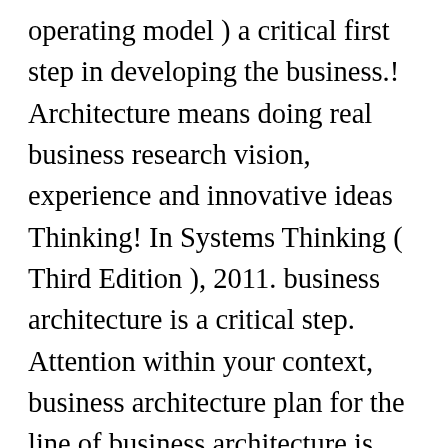operating model ) a critical first step in developing the business.! Architecture means doing real business research vision, experience and innovative ideas Thinking! In Systems Thinking ( Third Edition ), 2011. business architecture is a critical step. Attention within your context, business architecture plan for the line of business architecture is sponsored by business.! Just tell me where to send it: 1 May 2013 Download as PDF Revised: May 2013 Download PDF! General description business architecture pdf a system has a broad scope architecture Management with specific... Critical input to it planning, technology architecture, and information a broad scope business...